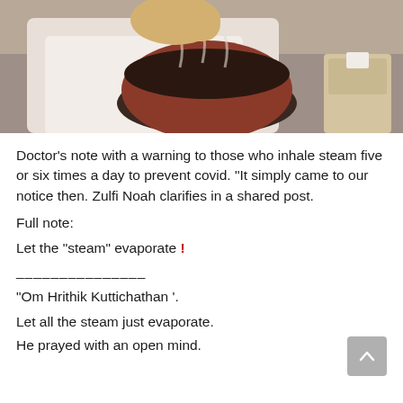[Figure (photo): A person inhaling steam from a large pot or bowl, with a tissue box visible in the background on a couch.]
Doctor's note with a warning to those who inhale steam five or six times a day to prevent covid. “It simply came to our notice then. Zulfi Noah clarifies in a shared post.
Full note:
Let the “steam” evaporate !
———————————
“Om Hrithik Kuttichathan ’.
Let all the steam just evaporate.
He prayed with an open mind.